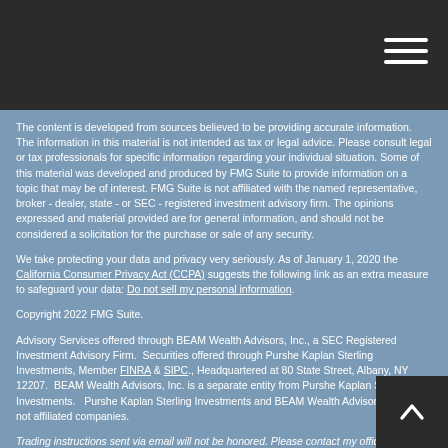[dark header bar with hamburger menu icon]
The content is developed from sources believed to be providing accurate information. The information in this material is not intended as tax or legal advice. Please consult legal or tax professionals for specific information regarding your individual situation. Some of this material was developed and produced by FMG Suite to provide information on a topic that may be of interest. FMG Suite is not affiliated with the named representative, broker - dealer, state - or SEC - registered investment advisory firm. The opinions expressed and material provided are for general information, and should not be considered a solicitation for the purchase or sale of any security.
We take protecting your data and privacy very seriously. As of January 1, 2020 the California Consumer Privacy Act (CCPA) suggests the following link as an extra measure to safeguard your data: Do not sell my personal information.
Copyright 2022 FMG Suite.
Advisory Services offered through BEAM Wealth Advisors, Inc., a SEC Registered Investment Advisory Firm.  Securities offered through Purshe Kaplan Sterling Investments, Member FINRA & SIPC., Headquartered at 80 State Street, Albany, NY 12207.  BEAM Wealth Advisors, Inc. is a separate entity from Purshe Kaplan Sterling Investments.   Purshe Kaplan Sterling Investments and BEAM Wealth Advisors, Inc. are not affiliated companies.
Trading instructions sent via email will not be honored. Please contact my office at (985) 893-1440 or (800) 256-5221 for all buy/sell orders.   Please be advised that